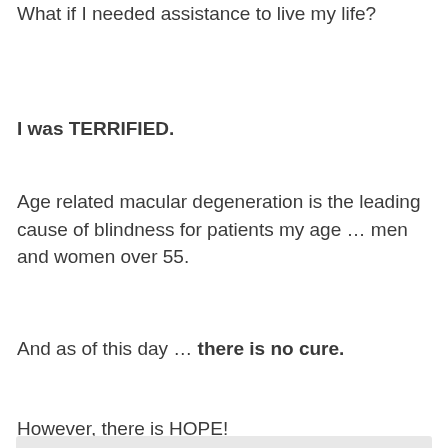What if I needed assistance to live my life?
I was TERRIFIED.
Age related macular degeneration is the leading cause of blindness for patients my age … men and women over 55.
And as of this day … there is no cure.
However, there is HOPE!